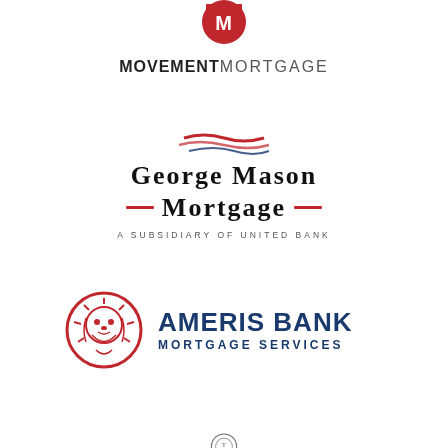[Figure (logo): Movement Mortgage logo: red circular icon with stylized 'M' above bold text reading MOVEMENTMORTGAGE]
[Figure (logo): George Mason Mortgage logo: wavy flag graphic above large serif text 'GEORGE MASON MORTGAGE' with red dashes and subtitle 'A SUBSIDIARY OF UNITED BANK']
[Figure (logo): Ameris Bank Mortgage Services logo: red circular lion head emblem to the left of bold navy text 'AMERIS BANK' and 'MORTGAGE SERVICES']
[Figure (logo): Partial logo at bottom of page, partially cropped]